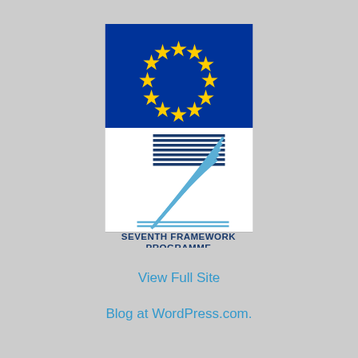[Figure (logo): EU Seventh Framework Programme (FP7) logo with European flag (blue background with 12 yellow stars) on top, stylized number 7 with blue lines in the middle section, text 'SEVENTH FRAMEWORK PROGRAMME' and 'FP7 FUTURE INTERNET CLUSTER' at the bottom]
View Full Site
Blog at WordPress.com.